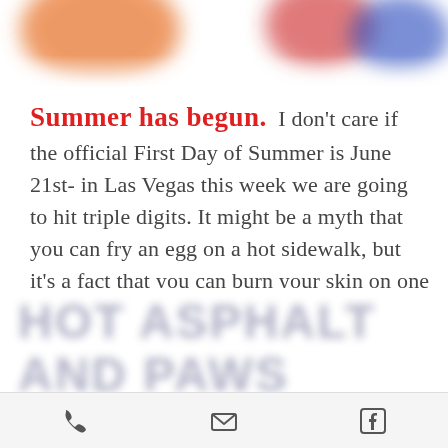[Figure (photo): Blurred colorful balloons or decorations at top of page, partially cropped]
Summer has begun. I don't care if the official First Day of Summer is June 21st- in Las Vegas this week we are going to hit triple digits. It might be a myth that you can fry an egg on a hot sidewalk, but it's a fact that you can burn your skin on one - your feet and your dog's paws.
[Figure (photo): Blurred bold text image at bottom, partially visible, reading something like HOT ASPHALT]
[Figure (screenshot): Mobile bottom navigation bar with phone, email, and Facebook icons]